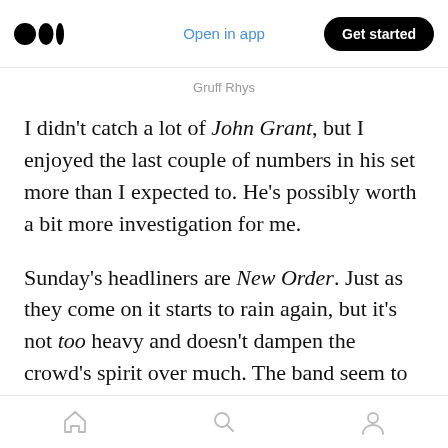Open in app | Get started
Gruff Rhys
I didn't catch a lot of John Grant, but I enjoyed the last couple of numbers in his set more than I expected to. He's possibly worth a bit more investigation for me.
Sunday's headliners are New Order. Just as they come on it starts to rain again, but it's not too heavy and doesn't dampen the crowd's spirit over much. The band seem to be happy to be on something approaching home turf, which takes on an added poignancy towards the close. Earli…
Home | Search | Profile